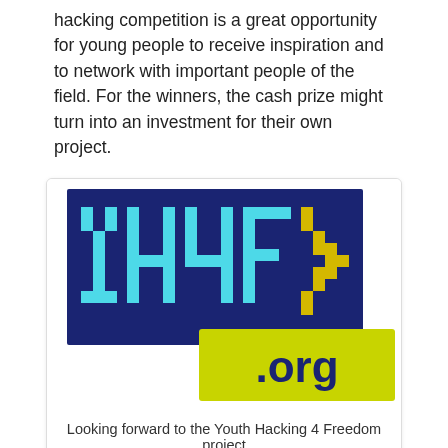hacking competition is a great opportunity for young people to receive inspiration and to network with important people of the field. For the winners, the cash prize might turn into an investment for their own project.
[Figure (logo): YH4F (Youth Hacking 4 Freedom) pixel-art logo on dark blue background with cyan block letters YH4F and a yellow arrow/chevron shape, plus a yellow-green rectangle with '.org' in dark blue text.]
Looking forward to the Youth Hacking 4 Freedom project
Upcycling Android will be a campaign with a web presence and practical workshops to overcome software obsolescence on Android by installing Free Software. It will aim to achieve users' freedom and care for the